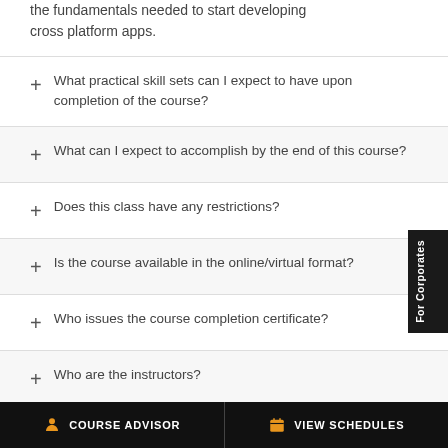the fundamentals needed to start developing cross platform apps.
What practical skill sets can I expect to have upon completion of the course?
What can I expect to accomplish by the end of this course?
Does this class have any restrictions?
Is the course available in the online/virtual format?
Who issues the course completion certificate?
Who are the instructors?
In which all the cities does KnowledgeHut conduct Ionic training?
COURSE ADVISOR | VIEW SCHEDULES